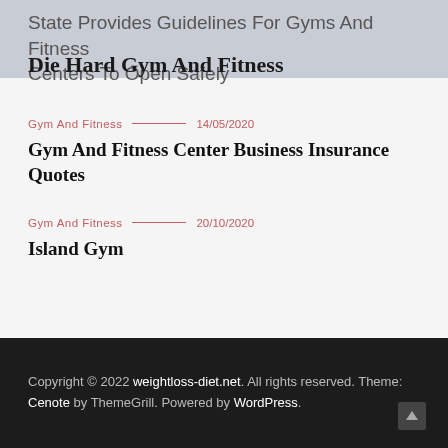State Provides Guidelines For Gyms And Fitness Centers To Open Safely
Die Hard Gym And Fitness
Gym And Fitness — 14/05/2020
Gym And Fitness Center Business Insurance Quotes
Gym And Fitness — 20/10/2020
Island Gym
Copyright © 2022 weightloss-diet.net. All rights reserved. Theme: Cenote by ThemeGrill. Powered by WordPress.